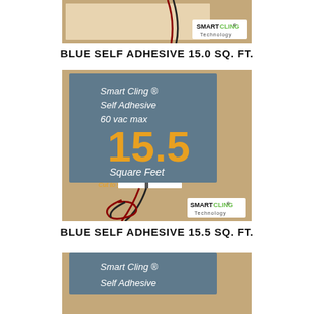[Figure (photo): Top portion of Smart Cling self-adhesive heating product on cardboard background with red/black wires, Smart Cling Technology logo visible]
BLUE SELF ADHESIVE 15.0 SQ. FT.
[Figure (photo): Smart Cling Self Adhesive 60 vac max product label showing 15.5 Square Feet, cut to your measurements, with wires coiled below, Smart Cling Technology logo at bottom]
BLUE SELF ADHESIVE 15.5 SQ. FT.
[Figure (photo): Bottom-cropped Smart Cling product photo showing Smart Cling label at top of image]